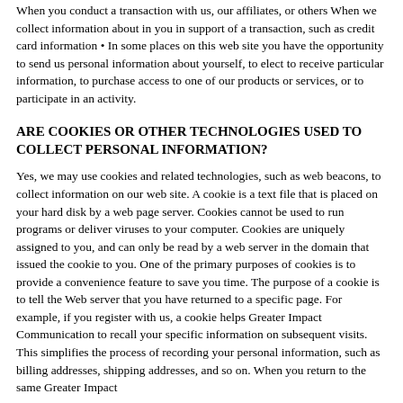When you conduct a transaction with us, our affiliates, or others When we collect information about in you in support of a transaction, such as credit card information • In some places on this web site you have the opportunity to send us personal information about yourself, to elect to receive particular information, to purchase access to one of our products or services, or to participate in an activity.
ARE COOKIES OR OTHER TECHNOLOGIES USED TO COLLECT PERSONAL INFORMATION?
Yes, we may use cookies and related technologies, such as web beacons, to collect information on our web site. A cookie is a text file that is placed on your hard disk by a web page server. Cookies cannot be used to run programs or deliver viruses to your computer. Cookies are uniquely assigned to you, and can only be read by a web server in the domain that issued the cookie to you. One of the primary purposes of cookies is to provide a convenience feature to save you time. The purpose of a cookie is to tell the Web server that you have returned to a specific page. For example, if you register with us, a cookie helps Greater Impact Communication to recall your specific information on subsequent visits. This simplifies the process of recording your personal information, such as billing addresses, shipping addresses, and so on. When you return to the same Greater Impact